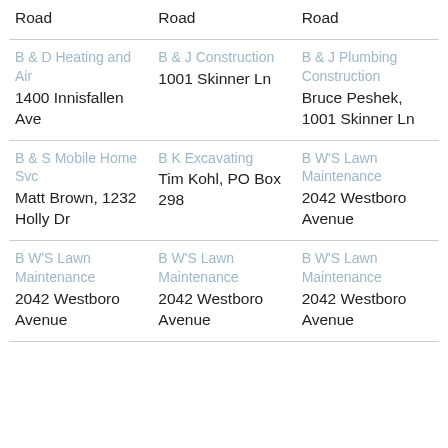| Col1 | Col2 | Col3 |
| --- | --- | --- |
| Road | Road | Road |
| B & D Heating and Air
1400 Innisfallen Ave | B & J Construction
1001 Skinner Ln | B & J Plumbing Construction
Bruce Peshek, 1001 Skinner Ln |
| B & S Mobile Home Svc
Matt Brown, 1232 Holly Dr | B K Excavating
Tim Kohl, PO Box 298 | B W'S Lawn Maintenance
2042 Westboro Avenue |
| B W'S Lawn Maintenance
2042 Westboro Avenue | B W'S Lawn Maintenance
2042 Westboro Avenue | B W'S Lawn Maintenance
2042 Westboro Avenue |